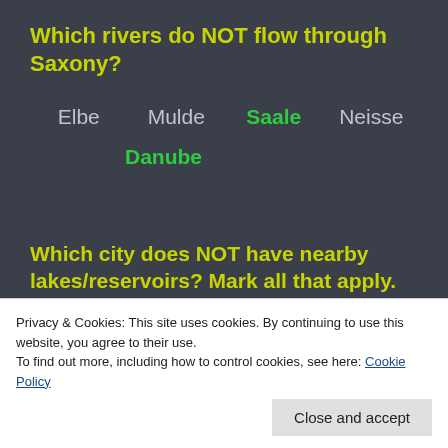Which rivers do NOT flow through Saxony?
Elbe
Mulde
Saale (correct answer, highlighted green)
Neisse
Danube (correct answer, highlighted green)
Which city does NOT have nearby lakes/reservoirs? Mark all that apply.
[Figure (screenshot): Partial advertisement banner showing 'Build a writing habit.' with 'GET THE APP' button and WordPress logo]
Privacy & Cookies: This site uses cookies. By continuing to use this website, you agree to their use.
To find out more, including how to control cookies, see here: Cookie Policy
Close and accept